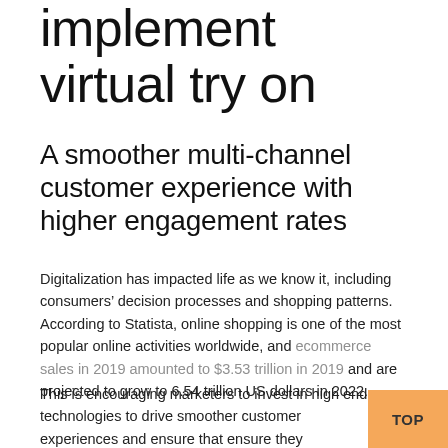implement virtual try on
A smoother multi-channel customer experience with higher engagement rates
Digitalization has impacted life as we know it, including consumers’ decision processes and shopping patterns. According to Statista, online shopping is one of the most popular online activities worldwide, and ecommerce sales in 2019 amounted to $3.53 trillion in 2019 and are projected to grow to 6.54 trillion US dollars in 2022.
This is encouraging marketers to invest in high end technologies to drive smoother customer experiences and ensure that ensure they differentiate brands from the competition. In fact, the value of the overall martech market was around $121.5B in 2019 and is expected to...